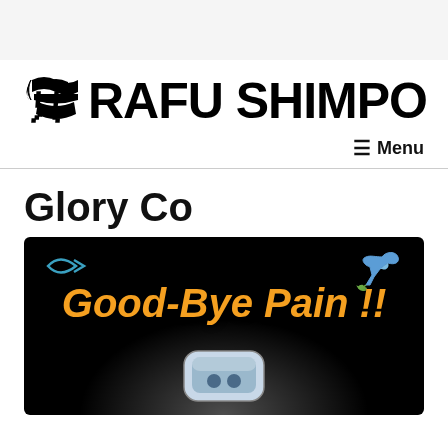[Figure (logo): The Rafu Shimpo newspaper logo with stylized kanji and bold block letters reading THE RAFU SHIMPO, with a hamburger Menu button on the right]
Glory Co
[Figure (photo): Advertisement image on black background with a cyan ichthys fish symbol on the left, a blue dove with olive branch on the right, orange bold italic text reading 'Good-Bye Pain !!' in the center, and a medical/pain relief device at the bottom with a radial white glow]